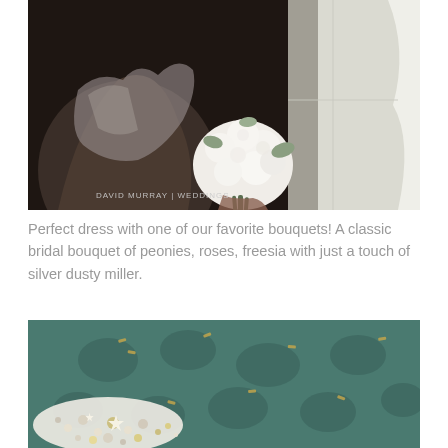[Figure (photo): A bride in a white pleated/ruched strapless gown holding a white bouquet of roses, peonies, and other white flowers, photographed indoors near a bright window with white curtains. Watermark reads 'DAVID MURRAY | WEDDINGS'.]
Perfect dress with one of our favorite bouquets! A classic bridal bouquet of peonies, roses, freesia with just a touch of silver dusty miller.
[Figure (photo): Close-up of a teal/green brocade fabric with a floral/leaf pattern, alongside ornate beaded and jeweled bridal embellishments in cream and gold tones.]